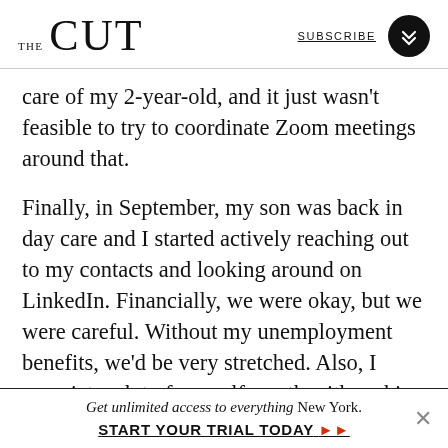THE CUT | SUBSCRIBE
care of my 2-year-old, and it just wasn't feasible to try to coordinate Zoom meetings around that.
Finally, in September, my son was back in day care and I started actively reaching out to my contacts and looking around on LinkedIn. Financially, we were okay, but we were careful. Without my unemployment benefits, we'd be very stretched. Also, I associate a lot of my self-worth with making money. Maybe it's because I'm an immigrant, but I do not feel like I am living at my full potential
Get unlimited access to everything New York. START YOUR TRIAL TODAY ▶▶